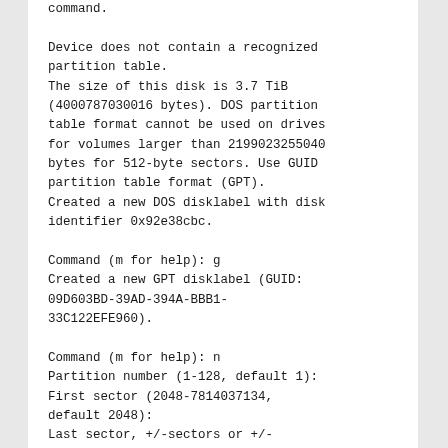command.

Device does not contain a recognized partition table.
The size of this disk is 3.7 TiB (4000787030016 bytes). DOS partition table format cannot be used on drives for volumes larger than 2199023255040 bytes for 512-byte sectors. Use GUID partition table format (GPT).
Created a new DOS disklabel with disk identifier 0x92e38cbc.

Command (m for help): g
Created a new GPT disklabel (GUID: 09D603BD-39AD-394A-BBB1-33C122EFE960).

Command (m for help): n
Partition number (1-128, default 1):
First sector (2048-7814037134, default 2048):
Last sector, +/-sectors or +/-